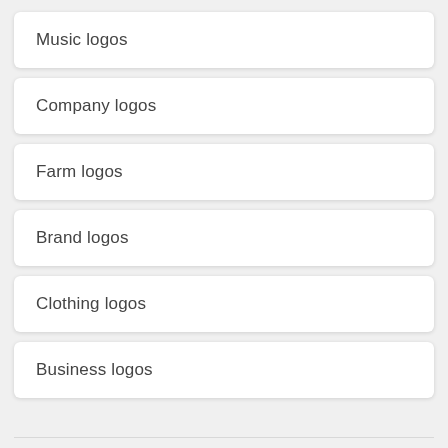Music logos
Company logos
Farm logos
Brand logos
Clothing logos
Business logos